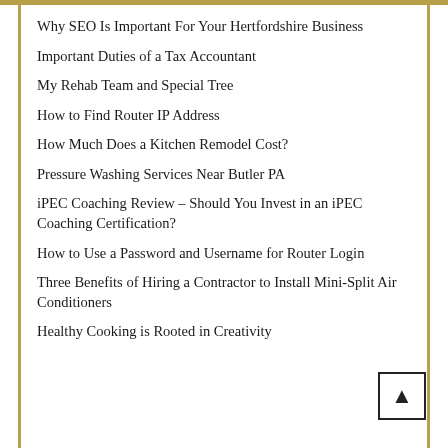Why SEO Is Important For Your Hertfordshire Business
Important Duties of a Tax Accountant
My Rehab Team and Special Tree
How to Find Router IP Address
How Much Does a Kitchen Remodel Cost?
Pressure Washing Services Near Butler PA
iPEC Coaching Review – Should You Invest in an iPEC Coaching Certification?
How to Use a Password and Username for Router Login
Three Benefits of Hiring a Contractor to Install Mini-Split Air Conditioners
Healthy Cooking is Rooted in Creativity